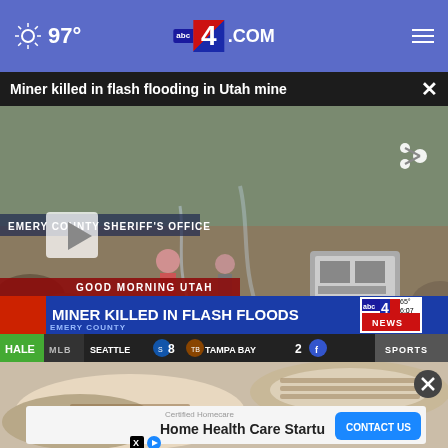97° abc4.com
Miner killed in flash flooding in Utah mine
[Figure (screenshot): News broadcast screenshot showing aftermath of flash flooding in a Utah mine. Shows rocky terrain with people walking, a vehicle visible. Chyron reads: GOOD MORNING UTAH / MINER KILLED IN FLASH FLOODS / EMERY COUNTY. ABC4 News logo visible. Score ticker: MLB SEATTLE 8 TAMPA BAY 2 SPORTS. HALE branding visible.]
[Figure (photo): Advertisement area showing shoes/moccasins image with Certified Homecare Home Health Care Startup ad banner and CONTACT US button.]